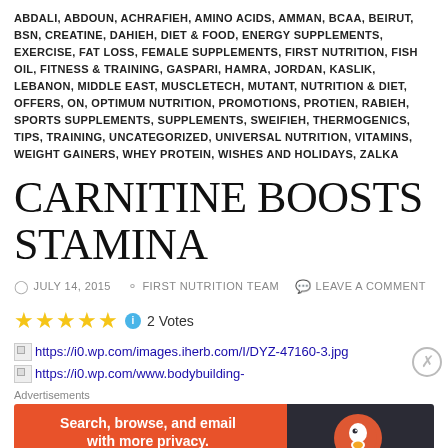ABDALI, ABDOUN, ACHRAFIEH, AMINO ACIDS, AMMAN, BCAA, BEIRUT, BSN, CREATINE, DAHIEH, DIET & FOOD, ENERGY SUPPLEMENTS, EXERCISE, FAT LOSS, FEMALE SUPPLEMENTS, FIRST NUTRITION, FISH OIL, FITNESS & TRAINING, GASPARI, HAMRA, JORDAN, KASLIK, LEBANON, MIDDLE EAST, MUSCLETECH, MUTANT, NUTRITION & DIET, OFFERS, ON, OPTIMUM NUTRITION, PROMOTIONS, PROTIEN, RABIEH, SPORTS SUPPLEMENTS, SUPPLEMENTS, SWEIFIEH, THERMOGENICS, TIPS, TRAINING, UNCATEGORIZED, UNIVERSAL NUTRITION, VITAMINS, WEIGHT GAINERS, WHEY PROTEIN, WISHES AND HOLIDAYS, ZALKA
CARNITINE BOOSTS STAMINA
JULY 14, 2015   FIRST NUTRITION TEAM   LEAVE A COMMENT
2 Votes
[Figure (screenshot): Broken image placeholder with URL https://i0.wp.com/images.iherb.com/I/DYZ-47160-3.jpg]
[Figure (screenshot): Broken image placeholder with URL https://i0.wp.com/www.bodybuilding-]
Advertisements
[Figure (screenshot): DuckDuckGo advertisement banner: Search, browse, and email with more privacy. All in One Free App]